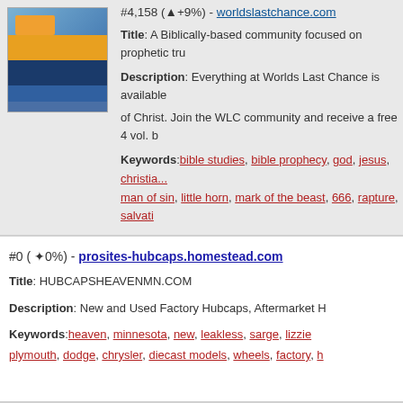[Figure (screenshot): Thumbnail screenshot of worldslastchance.com website showing blue, orange and dark blue striped imagery]
#4,158 (▲+9%) - worldslastchance.com
Title: A Biblically-based community focused on prophetic tru...
Description: Everything at Worlds Last Chance is available ... of Christ. Join the WLC community and receive a free 4 vol. b...
Keywords: bible studies, bible prophecy, god, jesus, christian... man of sin, little horn, mark of the beast, 666, rapture, salvati...
#0 (✦0%) - prosites-hubcaps.homestead.com
Title: HUBCAPSHEAVENMN.COM
Description: New and Used Factory Hubcaps, Aftermarket H...
Keywords: heaven, minnesota, new, leakless, sarge, lizzie... plymouth, dodge, chrysler, diecast models, wheels, factory, h...